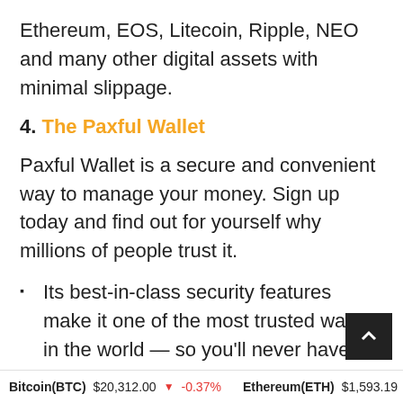Ethereum, EOS, Litecoin, Ripple, NEO and many other digital assets with minimal slippage.
4. The Paxful Wallet
Paxful Wallet is a secure and convenient way to manage your money. Sign up today and find out for yourself why millions of people trust it.
Its best-in-class security features make it one of the most trusted wallets in the world — so you'll never have to choose between security and convenience.
The Paxful wallet is functional, safe, and
Bitcoin(BTC) $20,312.00 ↓ -0.37%   Ethereum(ETH) $1,593.19